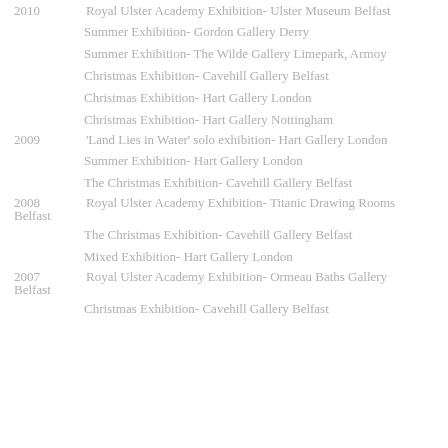2010   Royal Ulster Academy Exhibition- Ulster Museum Belfast
Summer Exhibition- Gordon Gallery Derry
Summer Exhibition- The Wilde Gallery Limepark, Armoy
Christmas Exhibition- Cavehill Gallery Belfast
Christmas Exhibition- Hart Gallery London
Christmas Exhibition- Hart Gallery Nottingham
2009   'Land Lies in Water' solo exhibition- Hart Gallery London
Summer Exhibition- Hart Gallery London
The Christmas Exhibition- Cavehill Gallery Belfast
2008   Royal Ulster Academy Exhibition- Titanic Drawing Rooms Belfast
The Christmas Exhibition- Cavehill Gallery Belfast
Mixed Exhibition- Hart Gallery London
2007   Royal Ulster Academy Exhibition- Ormeau Baths Gallery Belfast
Christmas Exhibition- Cavehill Gallery Belfast